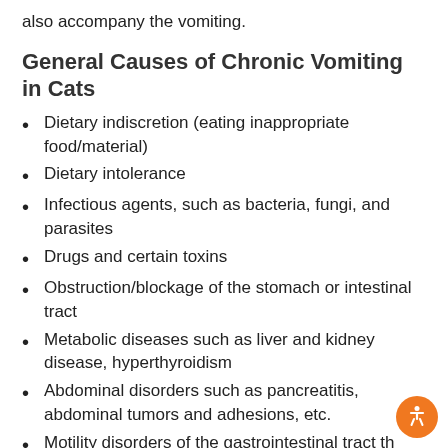also accompany the vomiting.
General Causes of Chronic Vomiting in Cats
Dietary indiscretion (eating inappropriate food/material)
Dietary intolerance
Infectious agents, such as bacteria, fungi, and parasites
Drugs and certain toxins
Obstruction/blockage of the stomach or intestinal tract
Metabolic diseases such as liver and kidney disease, hyperthyroidism
Abdominal disorders such as pancreatitis, abdominal tumors and adhesions, etc.
Motility disorders of the gastrointestinal tract that prevent the posterior movement of food